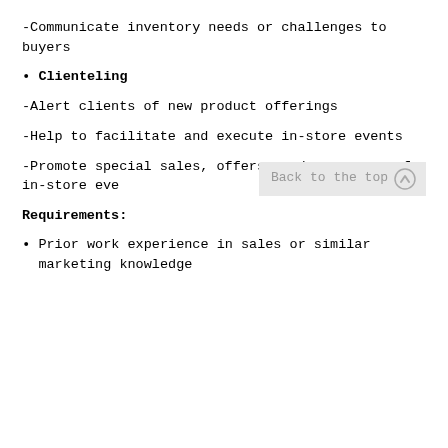-Communicate inventory needs or challenges to buyers
• Clienteling
-Alert clients of new product offerings
-Help to facilitate and execute in-store events
-Promote special sales, offers, and awareness of in-store eve...
Requirements:
• Prior work experience in sales or similar marketing knowledge